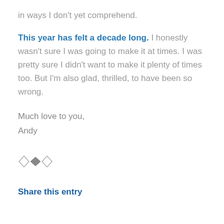in ways I don't yet comprehend.
This year has felt a decade long. I honestly wasn't sure I was going to make it at times. I was pretty sure I didn't want to make it plenty of times too. But I'm also glad, thrilled, to have been so wrong.
Much love to you,
Andy
[Figure (other): Decorative divider with three diamond shapes: hollow diamond, filled diamond, hollow diamond]
Share this entry